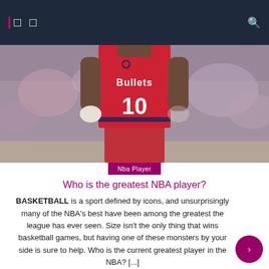Navigation bar with menu and search icons
[Figure (photo): Basketball player wearing a red Washington Bullets jersey number 10, standing on court with crowd in background]
Nba Player
Who is the greatest NBA player?
BASKETBALL is a sport defined by icons, and unsurprisingly many of the NBA's best have been among the greatest the league has ever seen. Size isn't the only thing that wins basketball games, but having one of these monsters by your side is sure to help. Who is the current greatest player in the NBA? [...]